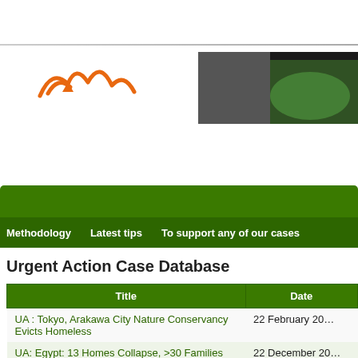[Figure (logo): Orange mountain/landscape logo mark]
[Figure (photo): Dark photo of green plant/nature scene cropped at top right]
[Figure (other): Green navigation banner bar]
Methodology    Latest tips    To support any of our cases
Urgent Action Case Database
| Title | Date |
| --- | --- |
| UA : Tokyo, Arakawa City Nature Conservancy Evicts Homeless | 22 February 20… |
| UA: Egypt: 13 Homes Collapse, >30 Families Displaced | 22 December 20… |